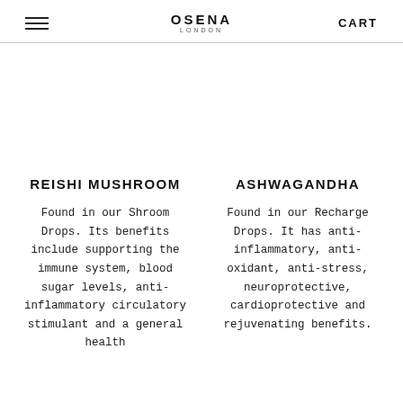OSENA LONDON | CART
REISHI MUSHROOM
Found in our Shroom Drops. Its benefits include supporting the immune system, blood sugar levels, anti-inflammatory circulatory stimulant and a general health
ASHWAGANDHA
Found in our Recharge Drops. It has anti-inflammatory, anti-oxidant, anti-stress, neuroprotective, cardioprotective and rejuvenating benefits.